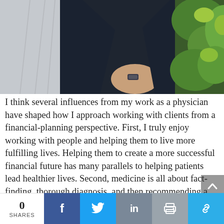[Figure (photo): Torso of a person in a dark suit adjusting their cuff or holding something, with a green leafy plant in the background to the right.]
I think several influences from my work as a physician have shaped how I approach working with clients from a financial-planning perspective. First, I truly enjoy working with people and helping them to live more fulfilling lives. Helping them to create a more successful financial future has many parallels to helping patients lead healthier lives. Second, medicine is all about fact-finding, thorough diagnosis, and then recommending a course of
0 SHARES  [Facebook] [Twitter] [LinkedIn] [Print] [Link]